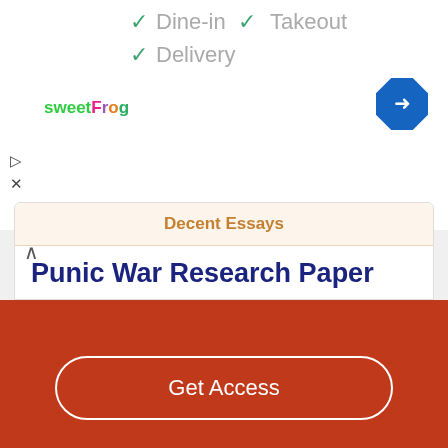[Figure (screenshot): Top portion of a mobile browser showing restaurant listing with checkmarks for Dine-in, Takeout, Delivery and sweetFrog logo and navigation direction icon]
ction of the sabine women gave rome women so rome could become a proper civilization. When the republican period rolled around Rome was a monarchy but the last king was soon dethroned and the republic was…
Read More
Decent Essays
Punic War Research Paper
Get Access